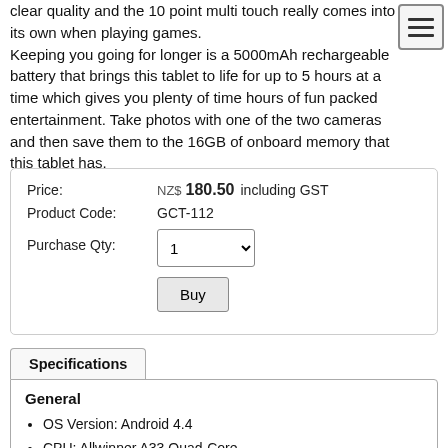clear quality and the 10 point multi touch really comes into its own when playing games. Keeping you going for longer is a 5000mAh rechargeable battery that brings this tablet to life for up to 5 hours at a time which gives you plenty of time hours of fun packed entertainment. Take photos with one of the two cameras and then save them to the 16GB of onboard memory that this tablet has.
| Price: | NZ$ 180.50 including GST |
| Product Code: | GCT-112 |
| Purchase Qty: | 1 (dropdown) |
Specifications
General
OS Version: Android 4.4
CPU: Allwinner A33 Quad-Core
Processor Speed (max): 1.3GHz
RAM: 1GB